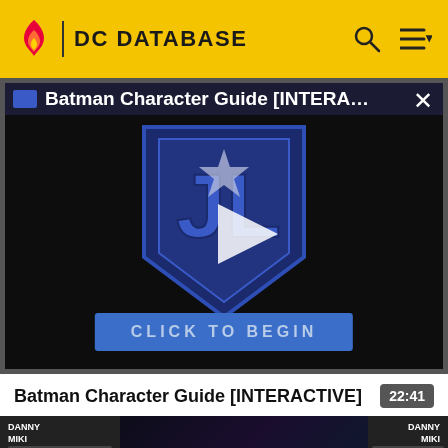DC DATABASE
[Figure (screenshot): Video player showing Batman Character Guide [INTERACTIVE] with DC/Justice League shield logo, play button, and CLICK TO BEGIN button on dark background]
Batman Character Guide [INTERACTIVE]	22:41
[Figure (screenshot): Thumbnail strip showing Batman Vol 2 23 comic cover with DANNY MIKI credits, DC Database label]